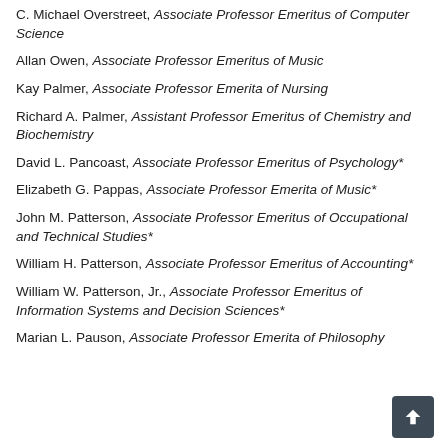C. Michael Overstreet, Associate Professor Emeritus of Computer Science
Allan Owen, Associate Professor Emeritus of Music
Kay Palmer, Associate Professor Emerita of Nursing
Richard A. Palmer, Assistant Professor Emeritus of Chemistry and Biochemistry
David L. Pancoast, Associate Professor Emeritus of Psychology*
Elizabeth G. Pappas, Associate Professor Emerita of Music*
John M. Patterson, Associate Professor Emeritus of Occupational and Technical Studies*
William H. Patterson, Associate Professor Emeritus of Accounting*
William W. Patterson, Jr., Associate Professor Emeritus of Information Systems and Decision Sciences*
Marian L. Pauson, Associate Professor Emerita of Philosophy